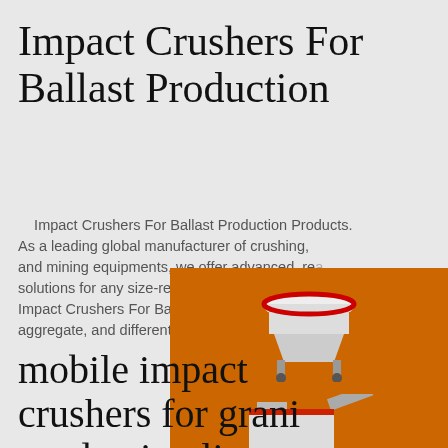Impact Crushers For Ballast Production
Impact Crushers For Ballast Production Products. As a leading global manufacturer of crushing, and mining equipments, we offer advanced, reasonable solutions for any size-reduction requirements including, Impact Crushers For Ballast Production, quarry, aggregate, and different kinds of minerals.
[Figure (illustration): Orange advertisement panel showing three industrial crushing/mining machines stacked vertically, with a yellow 'Enjoy 3% discount' bar and an orange 'Click to Chat' bar, followed by an Enquiry button and email limingjlmofen@sina.com]
mobile impact crushers for granite production line
Rock Crushers, Mobile Jaw Crushers & Mobile Screeners. offer a wide range of mobile rock crushers, scalpers & screeners, both tracked and wheeled